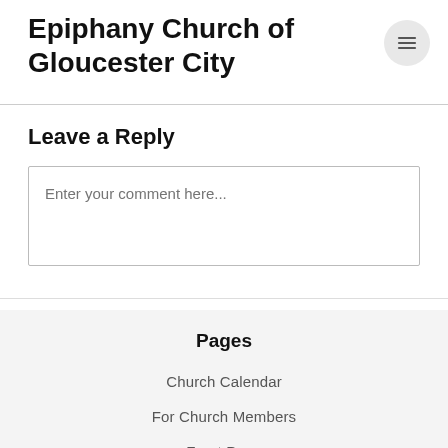Epiphany Church of Gloucester City
Leave a Reply
Enter your comment here...
Pages
Church Calendar
For Church Members
Front Page
Ministries
Grocery Ministry
Midweek Bible Study